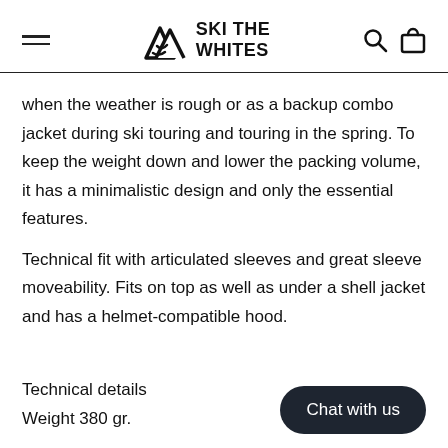SKI THE WHITES
when the weather is rough or as a backup combo jacket during ski touring and touring in the spring. To keep the weight down and lower the packing volume, it has a minimalistic design and only the essential features.
Technical fit with articulated sleeves and great sleeve moveability. Fits on top as well as under a shell jacket and has a helmet-compatible hood.
Technical details
Weight 380 gr.